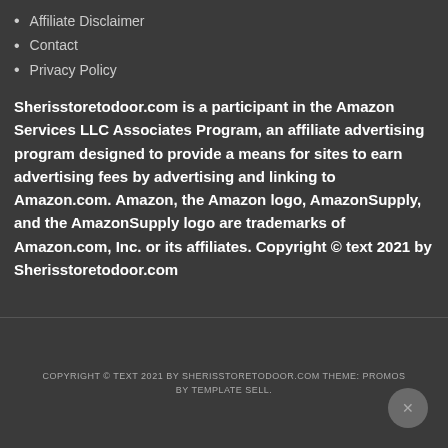Affiliate Disclaimer
Contact
Privacy Policy
Sherisstoretodoor.com is a participant in the Amazon Services LLC Associates Program, an affiliate advertising program designed to provide a means for sites to earn advertising fees by advertising and linking to Amazon.com. Amazon, the Amazon logo, AmazonSupply, and the AmazonSupply logo are trademarks of Amazon.com, Inc. or its affiliates. Copyright © text 2021 by Sherisstoretodoor.com
COPYRIGHT © TEXT 2021 BY SHERISSTORETODOOR.COM THEME: PROMOS BY TEMPLATE SELL.